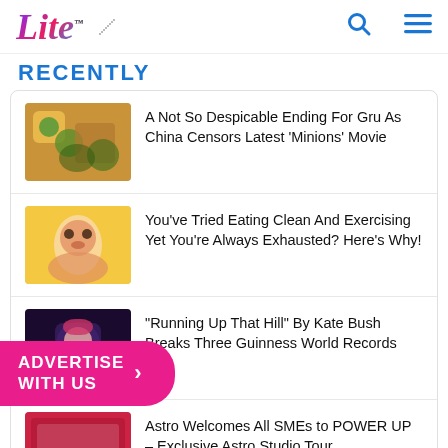Lite [logo] / [search] [menu]
RECENTLY
A Not So Despicable Ending For Gru As China Censors Latest ‘Minions’ Movie
You’ve Tried Eating Clean And Exercising Yet You’re Always Exhausted? Here’s Why!
“Running Up That Hill” By Kate Bush Breaks Three Guinness World Records
Astro Welcomes All SMEs to POWER UP – Exclusive Astro Studio Tour
Planning A Trip Can Boost Your Mental Health
[Figure (other): Advertise With Us promotional button in pink/magenta]